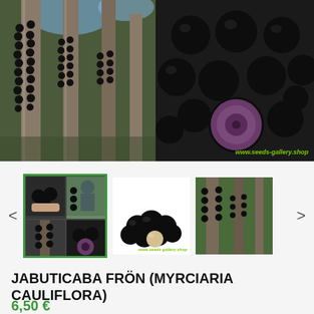[Figure (photo): Main product image showing jabuticaba fruit growing on tree trunks (left) and close-up of dark round jabuticaba fruits with one cut open showing purple interior (right), with www.seeds-gallery.shop watermark]
[Figure (photo): Thumbnail carousel with three visible thumbnails: first (selected, green border) shows 4-photo grid of jabuticaba, second shows jabuticaba fruits pile on white background with www.seeds-gallery.shop watermark, third shows jabuticaba fruits growing on tree trunk]
JABUTICABA FRÖN (MYRCIARIA CAULIFLORA)
6,50 €
Jabuticaba Frön (Myrciaria cauliflora)